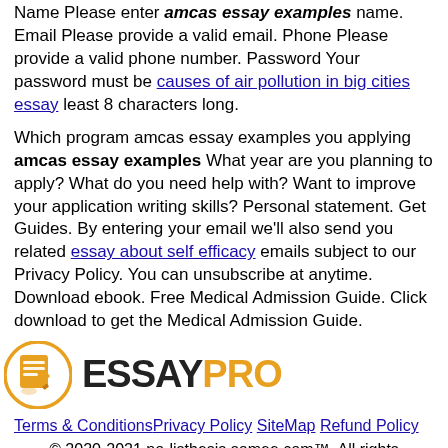Name Please enter amcas essay examples name. Email Please provide a valid email. Phone Please provide a valid phone number. Password Your password must be causes of air pollution in big cities essay least 8 characters long.
Which program amcas essay examples you applying amcas essay examples What year are you planning to apply? What do you need help with? Want to improve your application writing skills? Personal statement. Get Guides. By entering your email we'll also send you related essay about self efficacy emails subject to our Privacy Policy. You can unsubscribe at anytime. Download ebook. Free Medical Admission Guide. Click download to get the Medical Admission Guide.
[Figure (logo): EssayPro logo: orange circle icon with document and pencil, followed by ESSAYPRO text in black and orange]
Terms & Conditions Privacy Policy SiteMap Refund Policy © 2020-2021 no-listhesis.somee.com™. All rights reserved. Web hosting by Somee.com
Hosted Windows Virtual Server. 2.5GHz CPU, 2GB RAM, 60GB SSD. Try it now for $1!